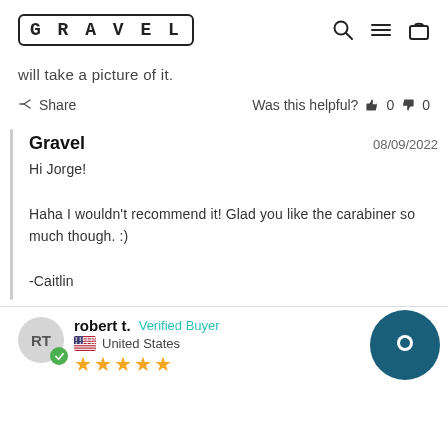GRAVEL — navigation header with search, menu, and cart icons
will take a picture of it.
Share   Was this helpful?  👍 0  👎 0
Gravel  08/09/2022
Hi Jorge!

Haha I wouldn't recommend it! Glad you like the carabiner so much though. :)

-Caitlin
robert t.  Verified Buyer  08/
United States
★★★★★